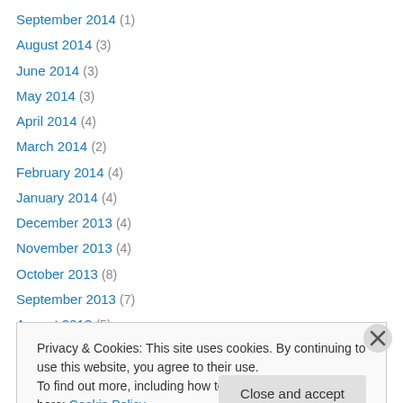September 2014 (1)
August 2014 (3)
June 2014 (3)
May 2014 (3)
April 2014 (4)
March 2014 (2)
February 2014 (4)
January 2014 (4)
December 2013 (4)
November 2013 (4)
October 2013 (8)
September 2013 (7)
August 2013 (5)
Privacy & Cookies: This site uses cookies. By continuing to use this website, you agree to their use. To find out more, including how to control cookies, see here: Cookie Policy
Close and accept